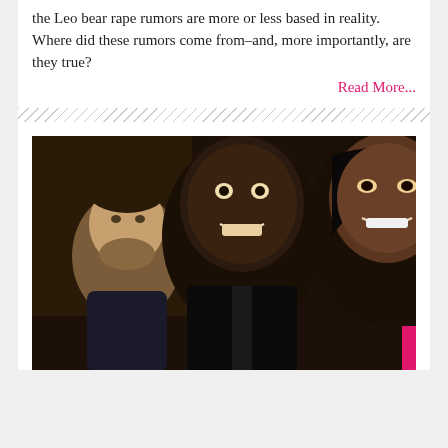the Leo bear rape rumors are more or less based in reality. Where did these rumors come from–and, more importantly, are they true?
Read More...
[Figure (photo): A selfie-style photo of three people: a white man with a beard on the left leaning in, a Black man in the center facing the camera directly, and a Black woman on the right smiling. Dark background suggesting an indoor event or party setting.]